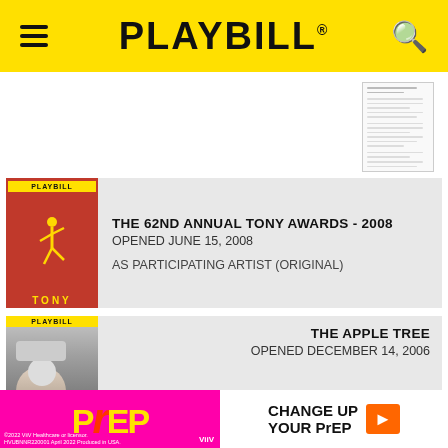PLAYBILL
[Figure (screenshot): Small thumbnail preview of a Playbill document page]
[Figure (screenshot): Playbill program cover for The 62nd Annual Tony Awards 2008, red cover with dancing figure]
THE 62ND ANNUAL TONY AWARDS - 2008
OPENED JUNE 15, 2008
AS PARTICIPATING ARTIST (ORIGINAL)
[Figure (screenshot): Playbill program cover for The Apple Tree, showing woman on cover]
THE APPLE TREE
OPENED DECEMBER 14, 2006
AS DIRECTOR OR BARBARA (ORIGINAL)
[Figure (advertisement): ViiV Healthcare PrEP advertisement - Change Up Your PrEP in pink and white]